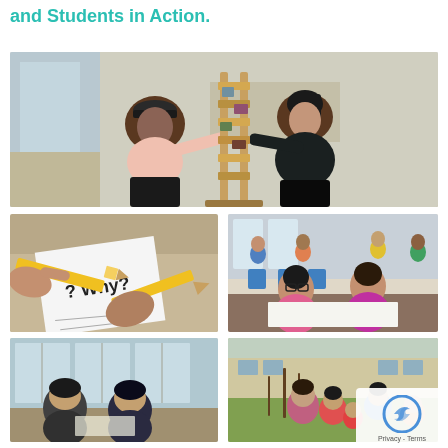and Students in Action.
[Figure (photo): Two students working together on a tall sculptural model made of cardboard and mixed materials, sitting on the floor in a bright indoor space.]
[Figure (photo): Close-up of hands writing on paper with '? Why?' written on it, with pencils visible.]
[Figure (photo): Classroom scene with multiple students working at tables; two girls in foreground leaning over papers.]
[Figure (photo): Teacher and student leaning together, looking at something closely, in a classroom with large windows.]
[Figure (photo): Outdoor scene with children and adults gathered around plants or a garden area.]